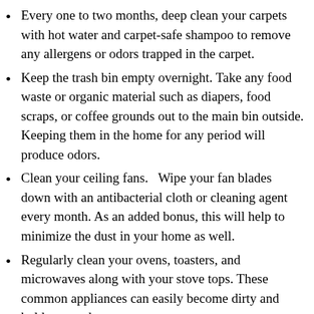Every one to two months, deep clean your carpets with hot water and carpet-safe shampoo to remove any allergens or odors trapped in the carpet.
Keep the trash bin empty overnight. Take any food waste or organic material such as diapers, food scraps, or coffee grounds out to the main bin outside. Keeping them in the home for any period will produce odors.
Clean your ceiling fans.   Wipe your fan blades down with an antibacterial cloth or cleaning agent every month. As an added bonus, this will help to minimize the dust in your home as well.
Regularly clean your ovens, toasters, and microwaves along with your stove tops. These common appliances can easily become dirty and hold on to odors.
Ensure you are using the right HVAC filters and replacing them on time. Using a high-quality HVAC filter